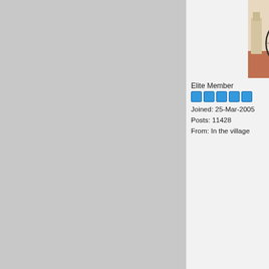[Figure (illustration): Illustration of a man riding a penny-farthing (high-wheel bicycle) against a surreal background with architecture and a flag.]
Elite Member
[Figure (other): Five blue star/badge icons representing Elite Member rank]
Joined: 25-Mar-2005
Posts: 11428
From: In the village
Part 2 of day 1 of the AmiWest 2019:
Again, only of use to non english speakers.
There is a rather lengthy discussion about the complete system, which has been a concern expressed here for some time. As everyone knows, resources are limited, and both users and developers are hampered by the "get this here" "download this part there" syndrome that developed over time. All I will say is that the team is well aware and wants to address/fix this for everyone's sake.
There are a couple of new slides.
First one is a list of all the currently supported hardware platforms. Quite extensive running from current to CSPPC and BPPC.
In short, the team is discussing ways to make their task easier given the long list and the necessity to have to test many things on all the possible platforms. This would include more effecient making fixes, processing bug reports and obviously delivery of said fixes to the customer.